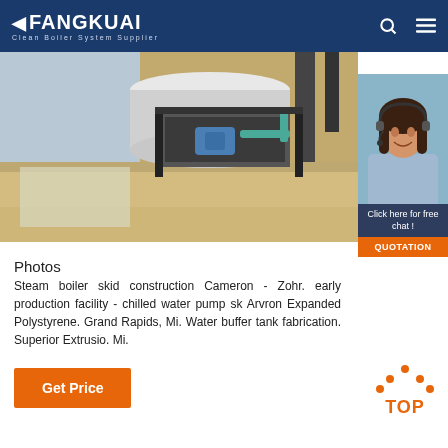FANGKUAI Clean Boiler System Supplier
[Figure (photo): Industrial steam boiler skid construction equipment in a facility, showing large cylindrical tanks and mechanical infrastructure. Blue and beige tones.]
[Figure (photo): 24/7 Online customer service representative — young woman with headset smiling, with chat and quotation call-to-action buttons.]
Photos
Steam boiler skid construction Cameron - Zohr. early production facility - chilled water pump sk Arvron Expanded Polystyrene. Grand Rapids, Mi. Water buffer tank fabrication. Superior Extrusio. Mi.
[Figure (other): Get Price button — orange rectangle with white text.]
[Figure (other): TOP navigation button — orange dots triangle above bold orange TOP text.]